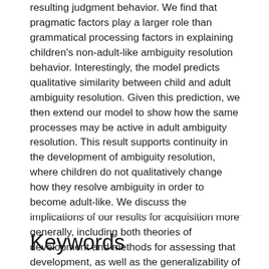resulting judgment behavior. We find that pragmatic factors play a larger role than grammatical processing factors in explaining children's non-adult-like ambiguity resolution behavior. Interestingly, the model predicts qualitative similarity between child and adult ambiguity resolution. Given this prediction, we then extend our model to show how the same processes may be active in adult ambiguity resolution. This result supports continuity in the development of ambiguity resolution, where children do not qualitatively change how they resolve ambiguity in order to become adult-like. We discuss the implications of our results for acquisition more generally, including both theories of development and methods for assessing that development, as well as the generalizability of this model of ambiguity resolution beyond the specific cases we consider.
Keywords